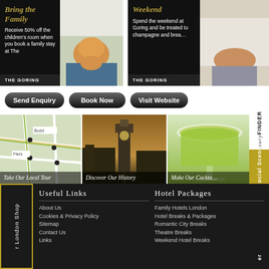[Figure (infographic): Promo card: Bring the Family - 50% off children's room at The Goring, with photo of child]
[Figure (infographic): Promo card: Weekend - spend weekend at Goring with champagne and breakfast, partial view]
Send Enquiry
Book Now
Visit Website
[Figure (map): Take Our Local Tour - map view with street names]
[Figure (photo): Discover Our History - Big Ben / London cityscape at dusk]
[Figure (photo): Make Our Cocktails - green cocktail drink close-up]
Useful Links
Hotel Packages
About Us
Cookies & Privacy Policy
Sitemap
Contact Us
Links
Family Hotels London
Hotel Breaks & Packages
Romantic City Breaks
Theatre Breaks
Weekend Hotel Breaks